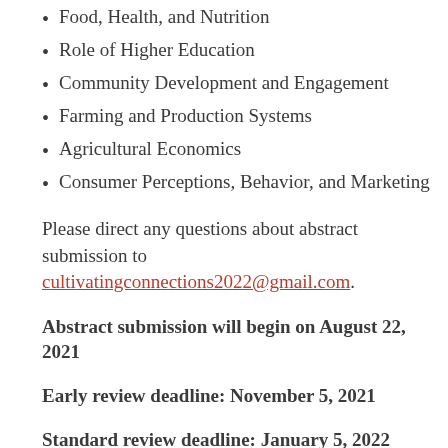Food, Health, and Nutrition
Role of Higher Education
Community Development and Engagement
Farming and Production Systems
Agricultural Economics
Consumer Perceptions, Behavior, and Marketing
Please direct any questions about abstract submission to cultivatingconnections2022@gmail.com.
Abstract submission will begin on August 22, 2021
Early review deadline: November 5, 2021
Standard review deadline: January 5, 2022
For early submissions, authors will be notified of